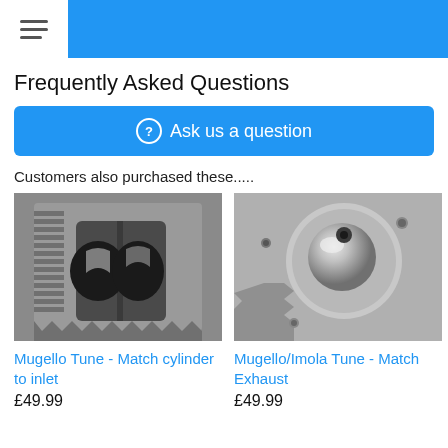Frequently Asked Questions
⓪ Ask us a question
Customers also purchased these.....
[Figure (photo): Close-up photo of a metal cylinder head inlet port showing two oval openings]
Mugello Tune - Match cylinder to inlet
£49.99
[Figure (photo): Close-up photo of a metal exhaust port with a spherical surface and fastener holes]
Mugello/Imola Tune - Match Exhaust
£49.99